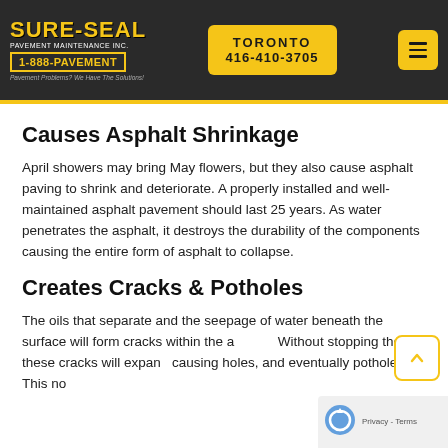SURE-SEAL PAVEMENT MAINTENANCE INC. 1-888-PAVEMENT | TORONTO 416-410-3705
Causes Asphalt Shrinkage
April showers may bring May flowers, but they also cause asphalt paving to shrink and deteriorate. A properly installed and well-maintained asphalt pavement should last 25 years. As water penetrates the asphalt, it destroys the durability of the components causing the entire form of asphalt to collapse.
Creates Cracks & Potholes
The oils that separate and the seepage of water beneath the surface will form cracks within the asphalt. Without stopping the oil, these cracks will expand causing holes, and eventually potholes. This not